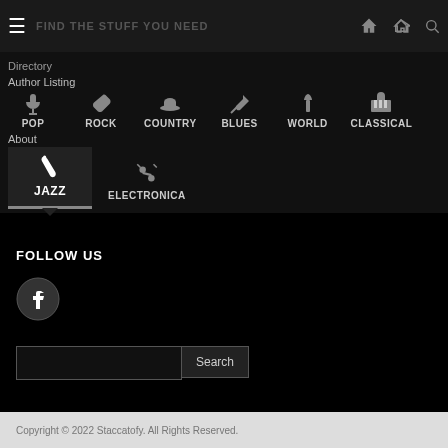FIND THE STUFF YOU NEED
Directory
Author Listing
POP | ROCK | COUNTRY | BLUES | WORLD | CLASSICAL
About
JAZZ | ELECTRONICA
FOLLOW US
[Figure (logo): Facebook icon circle logo]
Search
Copyright © 2022 Staccatofy. All Rights Reserved.